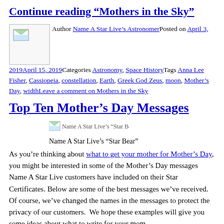Continue reading “Mothers in the Sky”
Author Name A Star Live’s AstronomerPosted on April 3, 2019April 15, 2019Categories Astronomy, Space HistoryTags Anna Lee Fisher, Cassiopeia, constellation, Earth, Greek God Zeus, moon, Mother’s Day, widthLeave a comment on Mothers in the Sky
Top Ten Mother’s Day Messages
[Figure (illustration): Name A Star Live’s “Star Bear” image placeholder with caption]
Name A Star Live’s “Star Bear”
As you’re thinking about what to get your mother for Mother’s Day, you might be interested in some of the Mother’s Day messages Name A Star Live customers have included on their Star Certificates. Below are some of the best messages we’ve received. Of course, we’ve changed the names in the messages to protect the privacy of our customers. We hope these examples will give you some ideas about what to write for your mom.